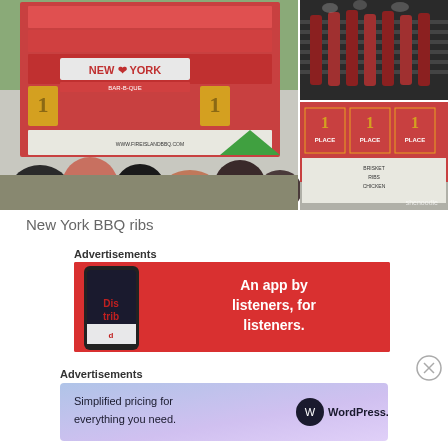[Figure (photo): Photo collage of New York BBQ ribs stand at an outdoor festival. Left: large crowd in front of a building covered in BBQ competition signage reading 'NEW YORK BAR-B-QUE' and '1st Place'. Top right: closeup of ribs on a grill. Bottom right: closeup of the '1st Place' signs on the BBQ stand. Watermark 'shenoodie' in bottom right corner.]
New York BBQ ribs
Advertisements
[Figure (infographic): Red advertisement banner for a podcasting app. Shows a smartphone on the left with 'Dis trib' text on screen. Right side has bold white text: 'An app by listeners, for listeners.']
Advertisements
[Figure (infographic): WordPress.com advertisement banner with purple/blue gradient background. Text: 'Simplified pricing for everything you need.' with WordPress.com logo on the right.]